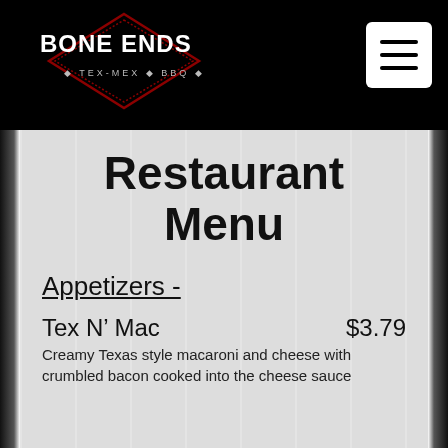BONE ENDS · TEX-MEX · BBQ
Restaurant Menu
Appetizers -
Tex N' Mac    $3.79
Creamy Texas style macaroni and cheese with crumbled bacon cooked into the cheese sauce